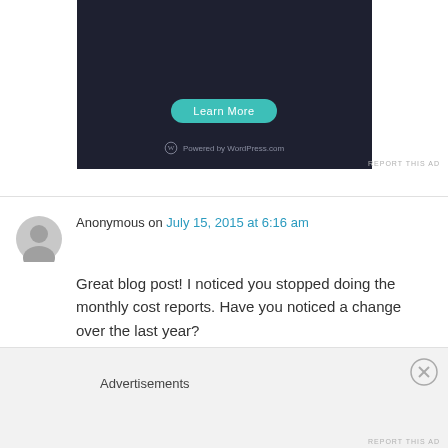[Figure (screenshot): Ad banner showing dark background with teal Learn More button and WordPress.com branding]
REPORT THIS AD
Anonymous on July 15, 2015 at 6:16 am
Great blog post! I noticed you stopped doing the monthly cost reports. Have you noticed a change over the last year?
★ Like
↳ Reply
Advertisements
REPORT THIS AD